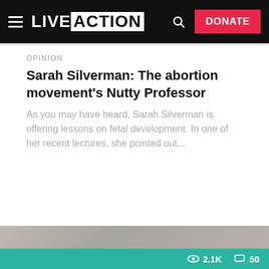LIVE ACTION | DONATE
OPINION
Sarah Silverman: The abortion movement's Nutty Professor
As you may have heard, Sarah Silverman is offering lessons on fetal development. In one of her recent lectures, she pointed out…
[Figure (photo): Blurred photo of a person, partially visible at the bottom of the page, with a teal overlay bar showing 2.1K views and 50 comments]